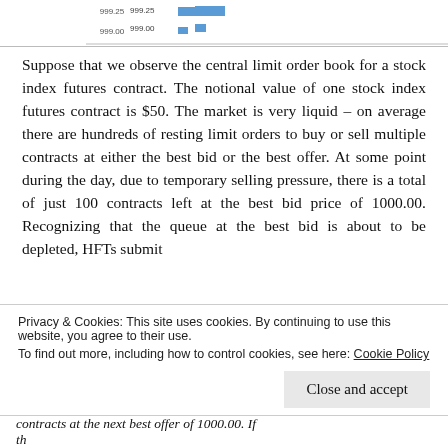[Figure (other): Top strip showing partial order book chart with price levels 999.25 and 999.00 on both left and right panels, with blue bar indicators]
Suppose that we observe the central limit order book for a stock index futures contract. The notional value of one stock index futures contract is $50. The market is very liquid – on average there are hundreds of resting limit orders to buy or sell multiple contracts at either the best bid or the best offer. At some point during the day, due to temporary selling pressure, there is a total of just 100 contracts left at the best bid price of 1000.00. Recognizing that the queue at the best bid is about to be depleted, HFTs submit
Privacy & Cookies: This site uses cookies. By continuing to use this website, you agree to their use.
To find out more, including how to control cookies, see here: Cookie Policy
contracts at the next best offer of 1000.00. If the